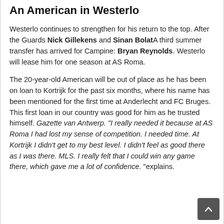An American in Westerlo
Westerlo continues to strengthen for his return to the top. After the Guards Nick Gillekens and Sinan BolatA third summer transfer has arrived for Campine: Bryan Reynolds. Westerlo will lease him for one season at AS Roma.
The 20-year-old American will be out of place as he has been on loan to Kortrijk for the past six months, where his name has been mentioned for the first time at Anderlecht and FC Bruges. This first loan in our country was good for him as he trusted himself. Gazette van Antwerp. "I really needed it because at AS Roma I had lost my sense of competition. I needed time. At Kortrijk I didn't get to my best level. I didn't feel as good there as I was there. MLS. I really felt that I could win any game there, which gave me a lot of confidence. "explains.